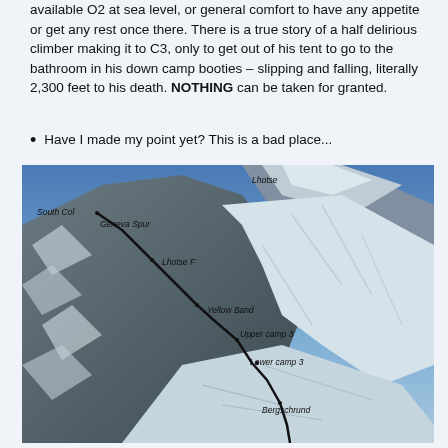available O2 at sea level, or general comfort to have any appetite or get any rest once there. There is a true story of a half delirious climber making it to C3, only to get out of his tent to go to the bathroom in his down camp booties – slipping and falling, literally 2,300 feet to his death. NOTHING can be taken for granted.
Have I made my point yet? This is a bad place...
[Figure (photo): Aerial photograph of a mountain face (likely Lhotse/Everest area) with a route marked by a black line and labeled waypoints: South Col, Geneva Spur, Lhotse (top), Lhotse F, Yellow Band, Upper Camp 3, Lower Camp 3, Bergschrund.]